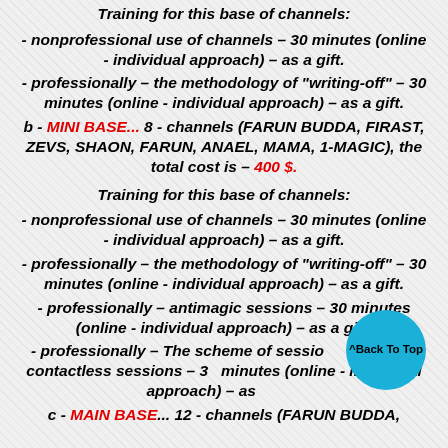Training for this base of channels:
- nonprofessional use of channels – 30 minutes (online - individual approach) – as a gift.
- professionally – the methodology of "writing-off" – 30 minutes (online - individual approach) – as a gift.
b - MINI BASE...  8 - channels (FARUN BUDDA, FIRAST, ZEVS, SHAON, FARUN, ANAEL, MAMA, 1-MAGIC), the total cost is – 400 $.
Training for this base of channels:
- nonprofessional use of channels – 30 minutes (online - individual approach) – as a gift.
- professionally – the methodology of "writing-off" – 30 minutes (online - individual approach) – as a gift.
- professionally – antimagic sessions – 30 minutes (online - individual approach) – as a gift.
- professionally – The scheme of sessions treatment contactless sessions – 30 minutes (online - individual approach) – as a gift.
c - MAIN BASE... 12 - channels (FARUN BUDDA,